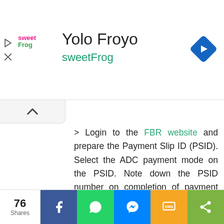[Figure (screenshot): Yolo Froyo sweetFrog advertisement banner with logo, navigation icon, and collapse arrow]
> Login to the FBR website and prepare the Payment Slip ID (PSID). Select the ADC payment mode on the PSID. Note down the PSID number on completion of payment for further processing,
> Now login to the internet or mobile banking system of your bank or visit the nearest ATM. On the bill payment screen of the bank, select ‘FBR’ as a biller. Enter the PSID number obtained from FBR’s website. Then the payment details shall be visible for approval of the payment of taxes. Upon
[Figure (screenshot): Social share bar with 76 Shares count, Facebook, WhatsApp, Messenger, SMS, and more share buttons]